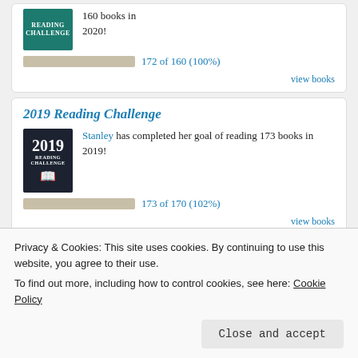160 books in 2020!
172 of 160 (100%)
view books
2019 Reading Challenge
Stanley has completed her goal of reading 173 books in 2019!
173 of 170 (102%)
view books
2018 Reading Challenge
Stanley has completed his goal of reading
goal of 85! 102%
Privacy & Cookies: This site uses cookies. By continuing to use this website, you agree to their use.
To find out more, including how to control cookies, see here: Cookie Policy
Close and accept